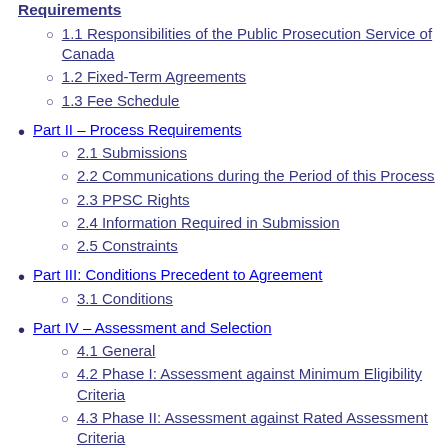Requirements (partial, top-cropped)
1.1 Responsibilities of the Public Prosecution Service of Canada
1.2 Fixed-Term Agreements
1.3 Fee Schedule
Part II – Process Requirements
2.1 Submissions
2.2 Communications during the Period of this Process
2.3 PPSC Rights
2.4 Information Required in Submission
2.5 Constraints
Part III: Conditions Precedent to Agreement
3.1 Conditions
Part IV – Assessment and Selection
4.1 General
4.2 Phase I: Assessment against Minimum Eligibility Criteria
4.3 Phase II: Assessment against Rated Assessment Criteria